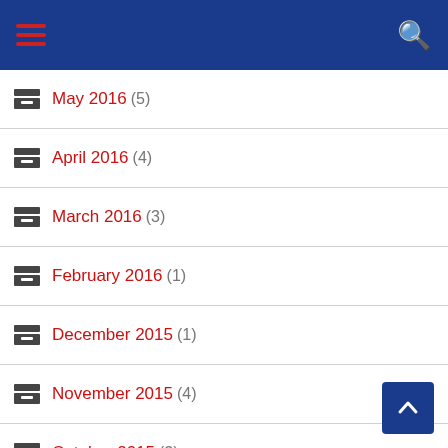Navigation header with menu and search icons
May 2016 (5)
April 2016 (4)
March 2016 (3)
February 2016 (1)
December 2015 (1)
November 2015 (4)
October 2015 (3)
September 2015 (1)
August 2015 (1)
July 2015 (3)
April 2015 (3)